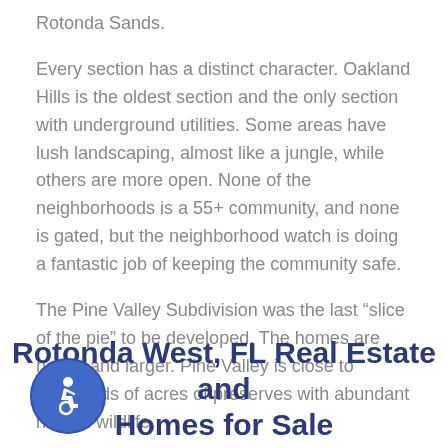Rotonda Sands.
Every section has a distinct character. Oakland Hills is the oldest section and the only section with underground utilities. Some areas have lush landscaping, almost like a jungle, while others are more open. None of the neighborhoods is a 55+ community, and none is gated, but the neighborhood watch is doing a fantastic job of keeping the community safe.
The Pine Valley Subdivision was the last “slice of the pie” to be developed. The homes are newer and larger. Pine Valley is close to thousands of acres of preserves with abundant natural wildlife.
Rotonda West, FL Real Estate and Homes for Sale